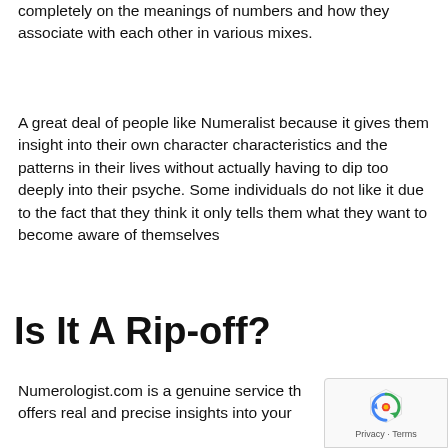completely on the meanings of numbers and how they associate with each other in various mixes.
A great deal of people like Numeralist because it gives them insight into their own character characteristics and the patterns in their lives without actually having to dip too deeply into their psyche. Some individuals do not like it due to the fact that they think it only tells them what they want to become aware of themselves
Is It A Rip-off?
Numerologist.com is a genuine service that offers real and precise insights into your